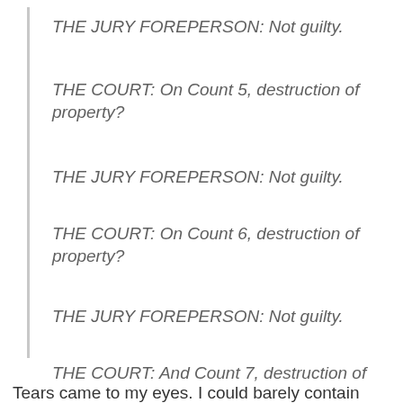THE JURY FOREPERSON: Not guilty.
THE COURT: On Count 5, destruction of property?
THE JURY FOREPERSON: Not guilty.
THE COURT: On Count 6, destruction of property?
THE JURY FOREPERSON: Not guilty.
THE COURT: And Count 7, destruction of property?
THE JURY FOREPERSON: Not guilty.
Tears came to my eyes. I could barely contain